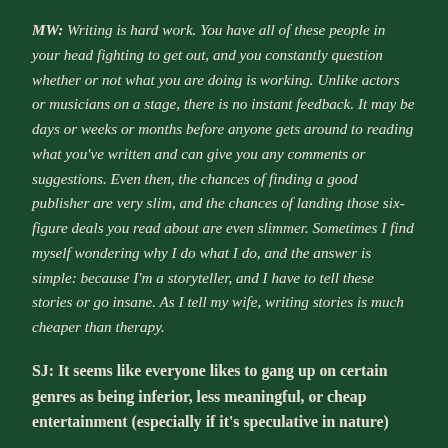MW: Writing is hard work. You have all of these people in your head fighting to get out, and you constantly question whether or not what you are doing is working. Unlike actors or musicians on a stage, there is no instant feedback. It may be days or weeks or months before anyone gets around to reading what you've written and can give you any comments or suggestions. Even then, the chances of finding a good publisher are very slim, and the chances of landing those six-figure deals you read about are even slimmer. Sometimes I find myself wondering why I do what I do, and the answer is simple: because I'm a storyteller, and I have to tell these stories or go insane. As I tell my wife, writing stories is much cheaper than therapy.
SJ: It seems like everyone likes to gang up on certain genres as being inferior, less meaningful, or cheap entertainment (especially if it's speculative in nature).